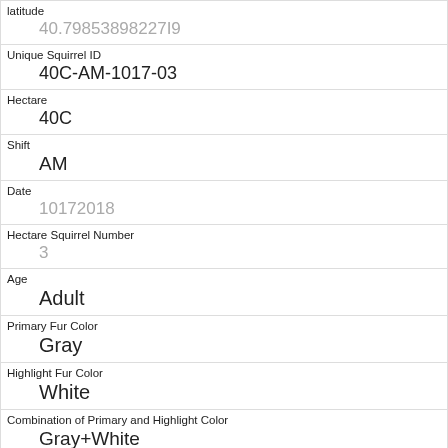| Field | Value |
| --- | --- |
| latitude | 40.79853898227I9 |
| Unique Squirrel ID | 40C-AM-1017-03 |
| Hectare | 40C |
| Shift | AM |
| Date | 10172018 |
| Hectare Squirrel Number | 3 |
| Age | Adult |
| Primary Fur Color | Gray |
| Highlight Fur Color | White |
| Combination of Primary and Highlight Color | Gray+White |
| Color notes |  |